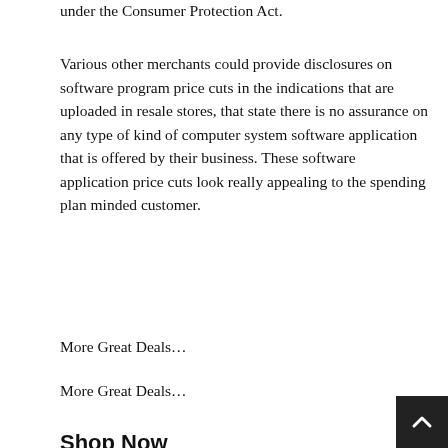under the Consumer Protection Act.
Various other merchants could provide disclosures on software program price cuts in the indications that are uploaded in resale stores, that state there is no assurance on any type of kind of computer system software application that is offered by their business. These software application price cuts look really appealing to the spending plan minded customer.
More Great Deals…
More Great Deals…
Shop Now
[Figure (photo): Microsoft Office Home & Student 2021 product box thumbnail]
[Figure (photo): Microsoft 365 Personal product box thumbnail]